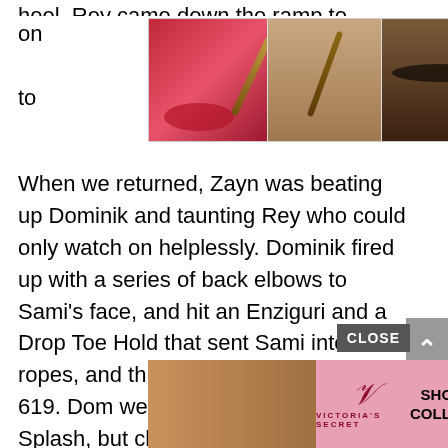heel. Rey came down the ramp to check on t to b...
[Figure (photo): Ulta Beauty advertisement banner showing makeup-themed images including red lips with brush, eye makeup, Ulta logo, model with smoky eye, and SHOP NOW button]
When we returned, Zayn was beating up Dominik and taunting Rey who could only watch on helplessly. Dominik fired up with a series of back elbows to Sami’s face, and hit an Enziguri and a Drop Toe Hold that sent Sami into the ropes, and this time Dominik did hit the 619. Dom went up top to go for a Frog Splash, but climbed back down when Sami rolled to the far corner. Dom chased him but got caught in an Exploder Suplex into the turnbuckles. A H...
[Figure (photo): Victoria's Secret advertisement banner showing a model, VS logo, SHOP THE COLLECTION text, and SHOP NOW button]
CLOSE